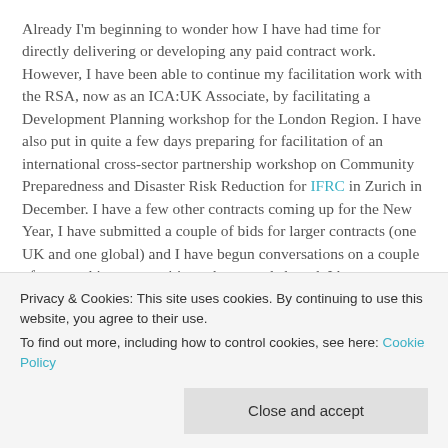Already I'm beginning to wonder how I have had time for directly delivering or developing any paid contract work. However, I have been able to continue my facilitation work with the RSA, now as an ICA:UK Associate, by facilitating a Development Planning workshop for the London Region. I have also put in quite a few days preparing for facilitation of an international cross-sector partnership workshop on Community Preparedness and Disaster Risk Reduction for IFRC in Zurich in December. I have a few other contracts coming up for the New Year, I have submitted a couple of bids for larger contracts (one UK and one global) and I have begun conversations on a couple of partnership opportunities at home and abroad. I have
Privacy & Cookies: This site uses cookies. By continuing to use this website, you agree to their use.
To find out more, including how to control cookies, see here: Cookie Policy